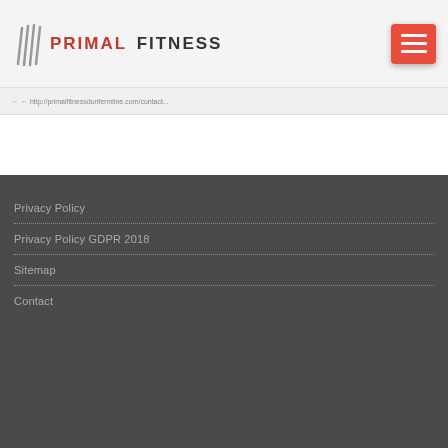PRIMAL FITNESS
← ← http://primalfitnessdunfermline.com/contact...
Privacy Policy
Privacy Policy GDPR 2018
Sitemap
Contact